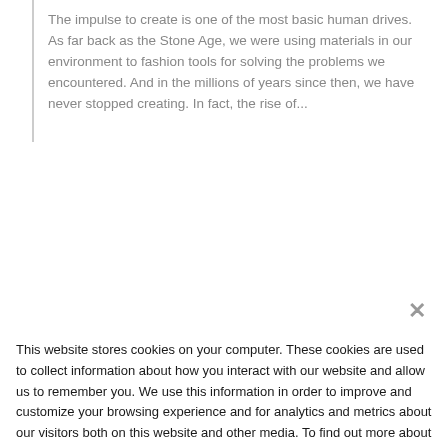The impulse to create is one of the most basic human drives. As far back as the Stone Age, we were using materials in our environment to fashion tools for solving the problems we encountered. And in the millions of years since then, we have never stopped creating. In fact, the rise of...
This website stores cookies on your computer. These cookies are used to collect information about how you interact with our website and allow us to remember you. We use this information in order to improve and customize your browsing experience and for analytics and metrics about our visitors both on this website and other media. To find out more about the cookies we use, see our Privacy Policy.
If you decline, your information won't be tracked when you visit this website. A single cookie will be used in your browser to remember your preference not to be tracked.